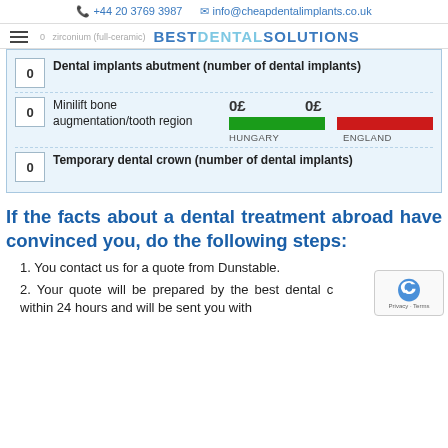+44 20 3769 3987  info@cheapdentalimplants.co.uk
BEST DENTAL SOLUTIONS
| Count | Item | Hungary | England |
| --- | --- | --- | --- |
| 0 | Dental implants abutment (number of dental implants) |  |  |
| 0 | Minilift bone augmentation/tooth region | 0£ HUNGARY | 0£ ENGLAND |
| 0 | Temporary dental crown (number of dental implants) |  |  |
If the facts about a dental treatment abroad have convinced you, do the following steps:
You contact us for a quote from Dunstable.
Your quote will be prepared by the best dental c... your case within 24 hours and will be sent you with